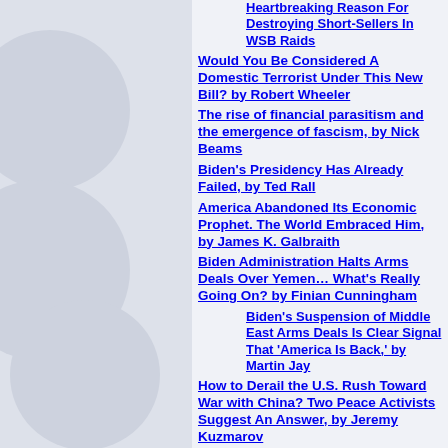Heartbreaking Reason For Destroying Short-Sellers In WSB Raids
Would You Be Considered A Domestic Terrorist Under This New Bill? by Robert Wheeler
The rise of financial parasitism and the emergence of fascism, by Nick Beams
Biden's Presidency Has Already Failed, by Ted Rall
America Abandoned Its Economic Prophet. The World Embraced Him, by James K. Galbraith
Biden Administration Halts Arms Deals Over Yemen… What's Really Going On? by Finian Cunningham
Biden's Suspension of Middle East Arms Deals Is Clear Signal That 'America Is Back,' by Martin Jay
How to Derail the U.S. Rush Toward War with China? Two Peace Activists Suggest An Answer, by Jeremy Kuzmarov
The Trump Administration Viewed from the Right, by John Morgan
AIPAC demands NBC retract report on NSC aide who's a big donor to lobby group– and NBC complies! by Phil Weiss